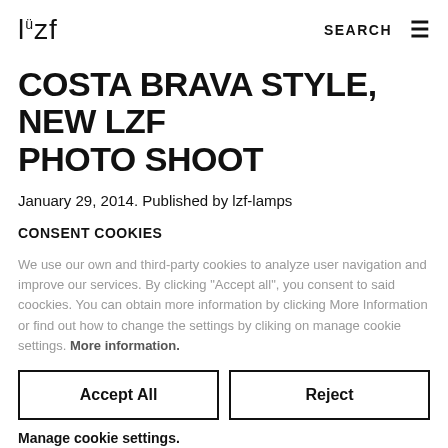lzf   SEARCH ≡
COSTA BRAVA STYLE, NEW LZF PHOTO SHOOT
January 29, 2014. Published by lzf-lamps
CONSENT COOKIES
We use our own and third-party cookies to analyze user navigation and improve our services. By clicking "Accept all", you consent to said coockies. You can obtain more information by clicking More Information or find out how to change the settings by cliking on manage cookie settings. More information.
Accept All
Reject
Manage cookie settings.